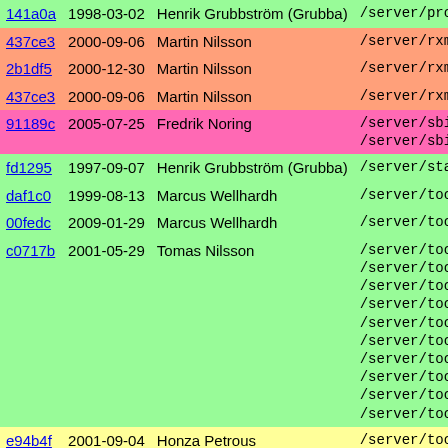| Hash | Date | Author | Bar | Path |
| --- | --- | --- | --- | --- |
| 141a0a | 1998-03-02 | Henrik Grubbström (Grubba) |  | /server/pro... |
| 437ce3 | 2000-09-06 | Martin Nilsson |  | /server/rxm... |
| 2b1df5 | 2000-12-30 | Martin Nilsson |  | /server/rxm... |
| 437ce3 | 2000-09-06 | Martin Nilsson |  | /server/rxm... |
| 91189c | 2005-07-25 | Fredrik Noring |  | /server/sbi... /server/sbi... |
| fd1295 | 1997-09-07 | Henrik Grubbström (Grubba) |  | /server/sta... |
| daf1c0 | 1999-08-13 | Marcus Wellhardh |  | /server/too... |
| 00fedc | 2009-01-29 | Marcus Wellhardh |  | /server/too... |
| c0717b | 2001-05-29 | Tomas Nilsson |  | /server/too... x10 |
| e94b4f | 2001-09-04 | Honza Petrous |  | /server/too... |
| 6f8525 | 2001-02-02 | Fredrik Noring |  | /start fore... |